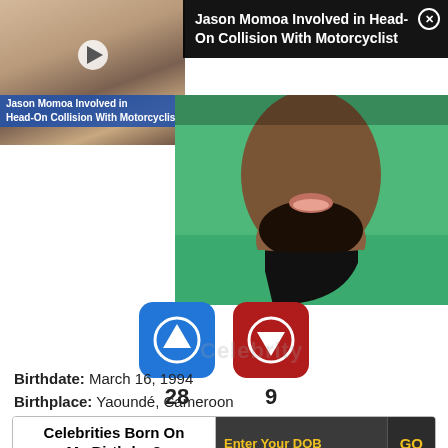[Figure (screenshot): Notification overlay showing Jason Momoa head-on collision news article thumbnail with play button and text overlay]
Jason Momoa Involved in Head-On Collision With Motorcyclist
[Figure (photo): Close-up photo of a man with beard wearing a teal/green jersey, face cropped]
[Figure (infographic): Blue upvote button and red downvote button with counts 28 and 9]
Birthdate: March 16, 1994
Birthplace: Yaoundé, Cameroon
Celebrities Born On My Birthday?
Enter Your DOB
GO